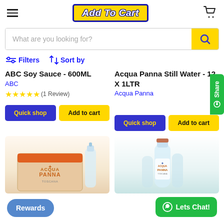Add To Cart
What are you looking for?
Filters  Sort by
ABC Soy Sauce - 600ML
ABC
★★★★★ (1 Review)
Acqua Panna Still Water - 12 X 1LTR
Acqua Panna
[Figure (screenshot): Product listing page of Add To Cart e-commerce site showing two products: ABC Soy Sauce 600ML and Acqua Panna Still Water 12x1LTR with Quick shop and Add to cart buttons, and product images below.]